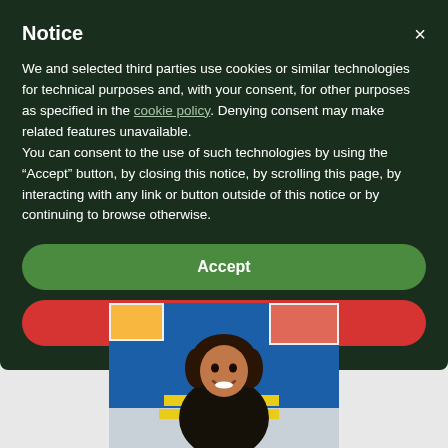Notice
We and selected third parties use cookies or similar technologies for technical purposes and, with your consent, for other purposes as specified in the cookie policy. Denying consent may make related features unavailable.
You can consent to the use of such technologies by using the “Accept” button, by closing this notice, by scrolling this page, by interacting with any link or button outside of this notice or by continuing to browse otherwise.
Accept
Learn more and customize
[Figure (photo): A smiling young woman with curly hair in a classroom or educational setting with colorful artwork and blue furniture visible in the background.]